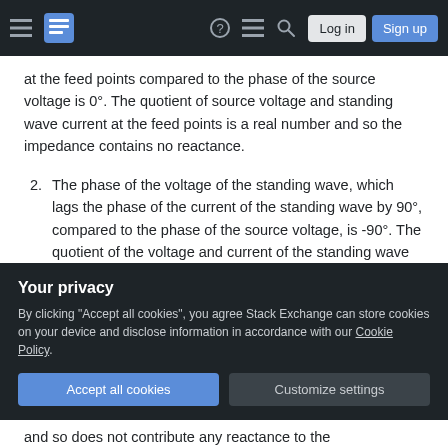Stack Exchange navigation bar with hamburger menu, logo, help, chat, search, Log in, Sign up
at the feed points compared to the phase of the source voltage is 0°. The quotient of source voltage and standing wave current at the feed points is a real number and so the impedance contains no reactance.
2. The phase of the voltage of the standing wave, which lags the phase of the current of the standing wave by 90°, compared to the phase of the source voltage, is -90°. The quotient of the voltage and current of the standing wave at the feed points contains the maximum
Your privacy
By clicking "Accept all cookies", you agree Stack Exchange can store cookies on your device and disclose information in accordance with our Cookie Policy.
Accept all cookies
Customize settings
and so does not contribute any reactance to the